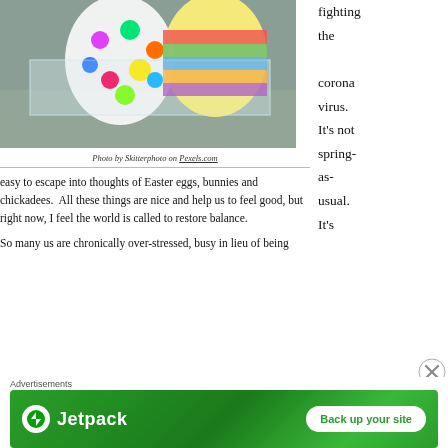[Figure (photo): Colorful painted Easter eggs in a clear acrylic display stand on a wooden surface]
Photo by Skitterphoto on Pexels.com
fighting the coronavirus. It's not spring-as-usual. It's easy to escape into thoughts of Easter eggs, bunnies and chickadees.  All these things are nice and help us to feel good, but right now, I feel the world is called to restore balance.
So many us are chronically over-stressed, busy in lieu of being
[Figure (other): Jetpack advertisement banner: green background with Jetpack logo and 'Back up your site' button]
Advertisements